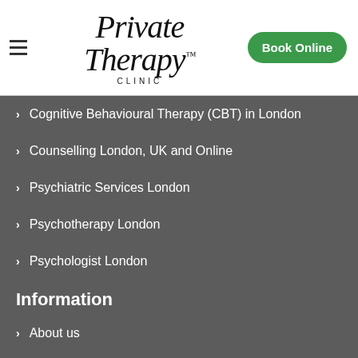[Figure (logo): Private Therapy Clinic logo with hamburger menu and Book Online button]
Cognitive Behavioural Therapy (CBT) in London
Counselling London, UK and Online
Psychiatric Services London
Psychotherapy London
Psychologist London
Information
About us
Fees
Reviews